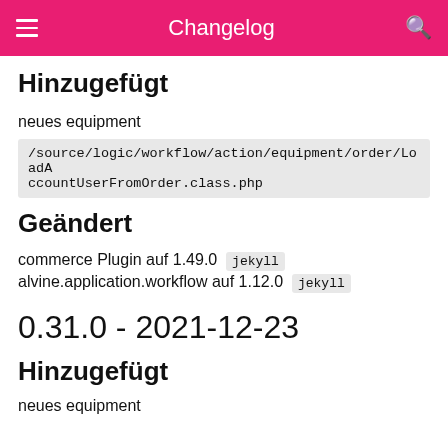Changelog
Hinzugefügt
neues equipment
/source/logic/workflow/action/equipment/order/LoadAccountUserFromOrder.class.php
Geändert
commerce Plugin auf 1.49.0  jekyll
alvine.application.workflow auf 1.12.0  jekyll
0.31.0 - 2021-12-23
Hinzugefügt
neues equipment